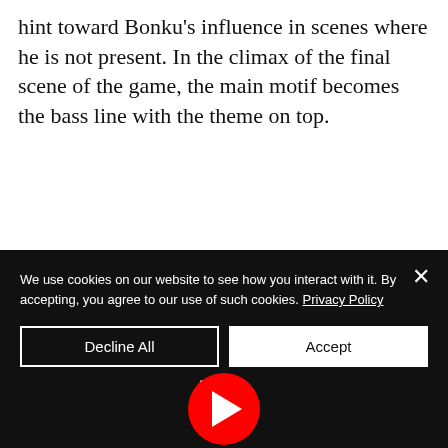hint toward Bonku's influence in scenes where he is not present. In the climax of the final scene of the game, the main motif becomes the bass line with the theme on top.
[Figure (screenshot): YouTube embedded video player showing 'Audio Example 5' with a waveform background and red play button in the center. A channel logo (white circle with a leaf/feather icon) appears top-left.]
We use cookies on our website to see how you interact with it. By accepting, you agree to our use of such cookies. Privacy Policy
Decline All
Accept
Settings